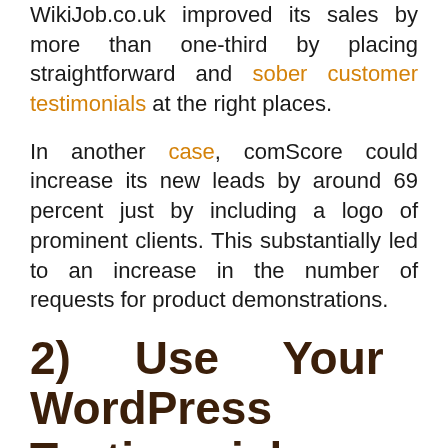WikiJob.co.uk improved its sales by more than one-third by placing straightforward and sober customer testimonials at the right places.
In another case, comScore could increase its new leads by around 69 percent just by including a logo of prominent clients. This substantially led to an increase in the number of requests for product demonstrations.
2) Use Your WordPress Testimonial Plugin To